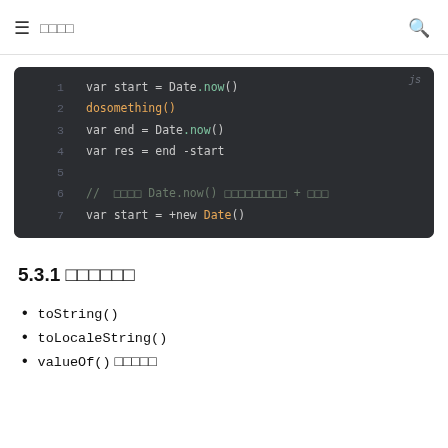≡ □□□□
[Figure (screenshot): Dark-themed code editor snippet showing JavaScript code with line numbers 1–7. Line 1: var start = Date.now(), Line 2: dosomething(), Line 3: var end = Date.now(), Line 4: var res = end -start, Line 5: empty, Line 6: comment in non-Latin script about Date.now() alternative, Line 7: var start = +new Date(). JS label top-right.]
5.3.1 □□□□□□
toString()
toLocaleString()
valueOf() □□□□□